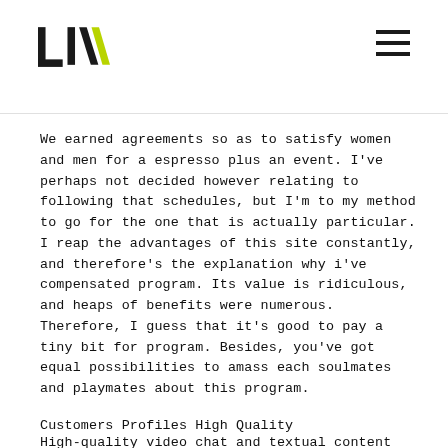LIV [logo] [hamburger menu]
We earned agreements so as to satisfy women and men for a espresso plus an event. I've perhaps not decided however relating to following that schedules, but I'm to my method to go for the one that is actually particular. I reap the advantages of this site constantly, and therefore's the explanation why i've compensated program. Its value is ridiculous, and heaps of benefits were numerous. Therefore, I guess that it's good to pay a tiny bit for program. Besides, you've got equal possibilities to amass each soulmates and playmates about this program.
Customers Profiles High Quality
High-quality video chat and textual content chat lets you keep secure and comfy from the consolation of your individual home. You can meet hundreds of women and men without ever leaving your front door. As you watch the joy rise when a